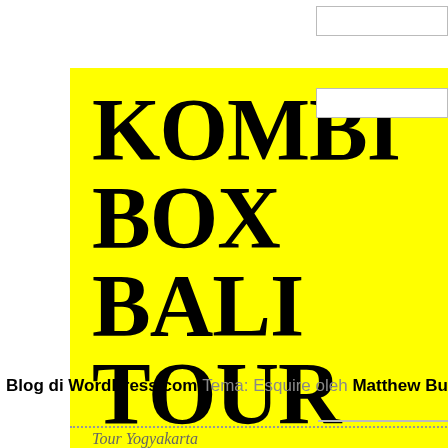[Figure (illustration): Yellow book cover for 'KOMBI BOX BALI TOUR' with subtitle 'The Best Bali Experience You'll Ever Get!' and author/attribution 'Ruby Floaties "Sewa Pelampung Murah di Bali"']
Situs we
Kirim K
Beri t
Berita
5 TAHUN
Blog di WordPress.com. Tema: Esquire oleh Matthew Buchanan.
Tour Yogyakarta